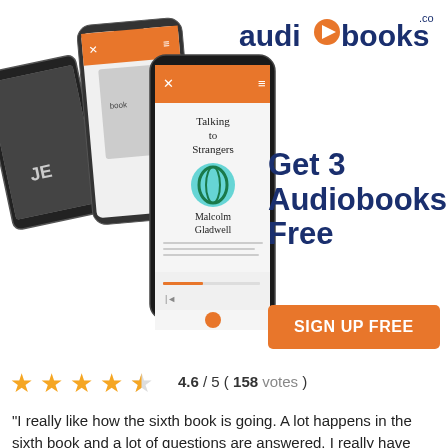[Figure (logo): audiobooks.com logo with orange play button icon replacing the 'o' in audio]
[Figure (photo): Three smartphones displaying the audiobooks.com app, showing the book 'Talking to Strangers' by Malcolm Gladwell on the front phone, and other books on phones behind]
Get 3 Audiobooks Free
SIGN UP FREE
4.6 / 5 ( 158 votes )
"I really like how the sixth book is going. A lot happens in the sixth book and a lot of questions are answered. I really have